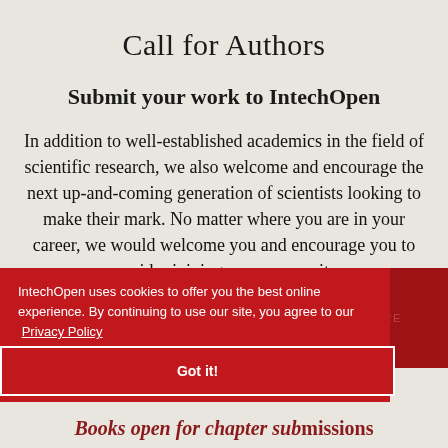Call for Authors
Submit your work to IntechOpen
In addition to well-established academics in the field of scientific research, we also welcome and encourage the next up-and-coming generation of scientists looking to make their mark. No matter where you are in your career, we would welcome you and encourage you to consider joining our community.
IntechOpen uses cookies to offer you the best online experience. By continuing to use our site, you agree to our Privacy Policy
Got it!
Books open for chapter submissions